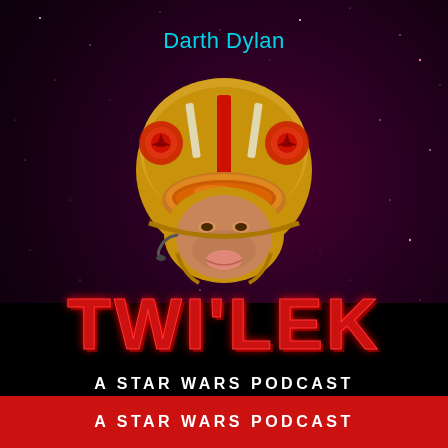Darth Dylan
[Figure (illustration): A floating head wearing a gold/yellow X-Wing pilot helmet with Rebel Alliance insignia, red stripes, and orange visor. A human face is visible beneath the helmet.]
Rob Solo
TWI'LEK
A STAR WARS PODCAST